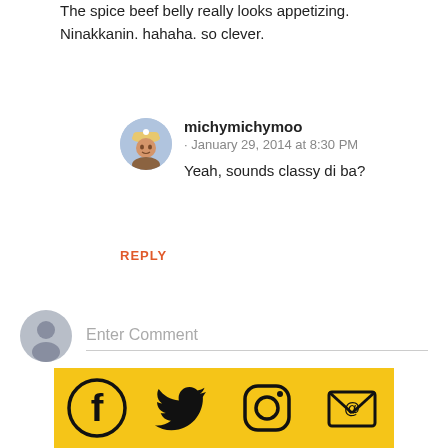The spice beef belly really looks appetizing. Ninakkanin. hahaha. so clever.
michymichymoo · January 29, 2014 at 8:30 PM
Yeah, sounds classy di ba?
REPLY
Enter Comment
[Figure (infographic): Four social media icon buttons on golden/yellow backgrounds: Facebook, Twitter, Instagram, Email]